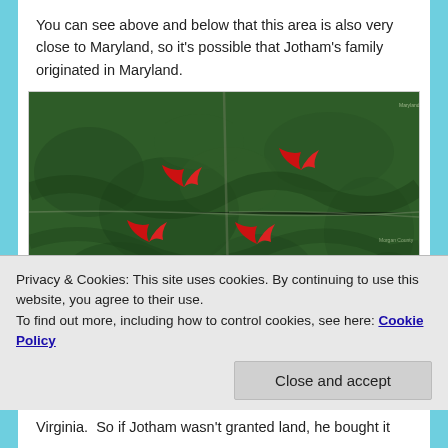You can see above and below that this area is also very close to Maryland, so it's possible that Jotham's family originated in Maryland.
[Figure (map): Satellite/aerial map showing a forested, hilly area near the Maryland border with four red arrow markers indicating locations of interest.]
Privacy & Cookies: This site uses cookies. By continuing to use this website, you agree to their use.
To find out more, including how to control cookies, see here: Cookie Policy
Virginia.  So if Jotham wasn't granted land, he bought it